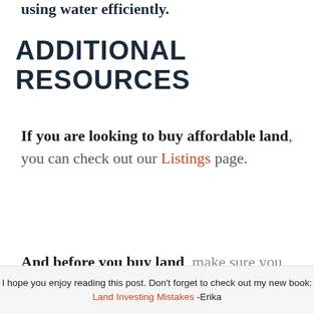using water efficiently.
ADDITIONAL RESOURCES
If you are looking to buy affordable land, you can check out our Listings page.
And before you buy land, make sure you check out Gokce Land Due Diligence
I hope you enjoy reading this post. Don't forget to check out my new book: Land Investing Mistakes -Erika